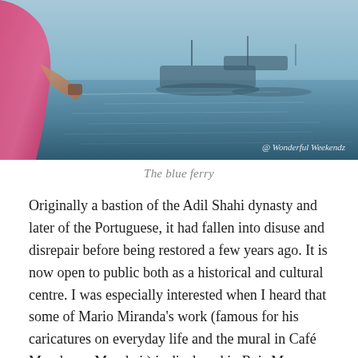[Figure (photo): Photo of a person in a pink/magenta top on the left foreground, with boats on reflective blue water in the background. Watermark reads '@ Wonderful Weekendz'.]
The blue ferry
Originally a bastion of the Adil Shahi dynasty and later of the Portuguese, it had fallen into disuse and disrepair before being restored a few years ago. It is now open to public both as a historical and cultural centre. I was especially interested when I heard that some of Mario Miranda's work (famous for his caricatures on everyday life and the mural in Café Mondegar, Mumbai ) is displayed in Reis Magos. Even though it was almost late afternoon and the fort closes around sunset, I decided to give it a shot. From Panjim Jetty I boarded one of those